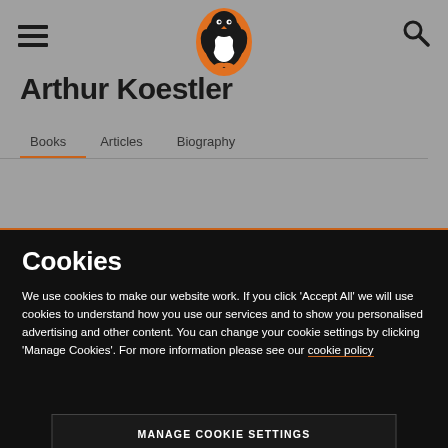[Figure (logo): Penguin Books logo - orange penguin in orange oval]
Arthur Koestler
Books   Articles   Biography
Cookies
We use cookies to make our website work. If you click 'Accept All' we will use cookies to understand how you use our services and to show you personalised advertising and other content. You can change your cookie settings by clicking 'Manage Cookies'. For more information please see our cookie policy
MANAGE COOKIE SETTINGS